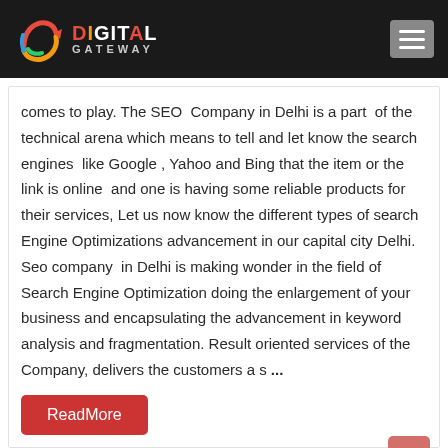Digital Gateway
comes to play. The SEO Company in Delhi is a part of the technical arena which means to tell and let know the search engines like Google , Yahoo and Bing that the item or the link is online and one is having some reliable products for their services, Let us now know the different types of search Engine Optimizations advancement in our capital city Delhi. Seo company in Delhi is making wonder in the field of Search Engine Optimization doing the enlargement of your business and encapsulating the advancement in keyword analysis and fragmentation. Result oriented services of the Company, delivers the customers a s ...
ReadMore
SEO company Mumbai, SEO company in mumbai, SEO services in Mumbai